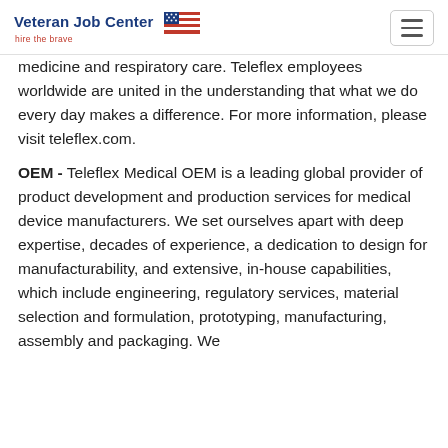Veteran Job Center — hire the brave
medicine and respiratory care. Teleflex employees worldwide are united in the understanding that what we do every day makes a difference. For more information, please visit teleflex.com.
OEM - Teleflex Medical OEM is a leading global provider of product development and production services for medical device manufacturers. We set ourselves apart with deep expertise, decades of experience, a dedication to design for manufacturability, and extensive, in-house capabilities, which include engineering, regulatory services, material selection and formulation, prototyping, manufacturing, assembly and packaging. We